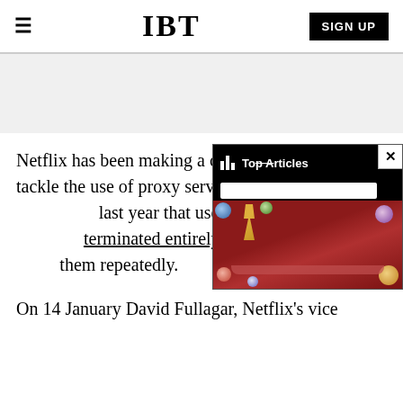IBT
[Figure (screenshot): Advertisement gray placeholder area]
Netflix has been making a concerted effort to tackle the use of proxy services worldwide and announced last year that users could have their accounts terminated entirely if they were found using them repeatedly.
[Figure (screenshot): Popup overlay with 'Top Articles' bar, search bar, and colorful background image resembling a David Bowie portrait with circles]
On 14 January David Fullagar, Netflix's vice